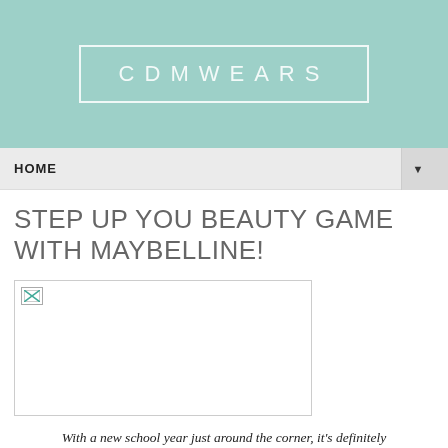CDMWEARS
HOME
STEP UP YOU BEAUTY GAME WITH MAYBELLINE!
[Figure (photo): Broken/placeholder image for a Maybelline beauty article]
With a new school year just around the corner, it's definitely the best time for girls to step up with academics, and of course, their beauty game. To keep up with the dynamic